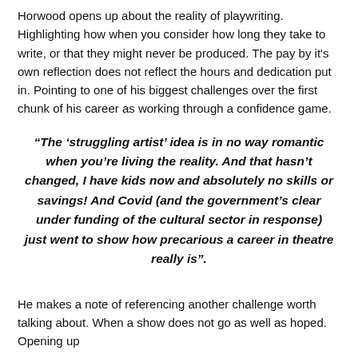Horwood opens up about the reality of playwriting. Highlighting how when you consider how long they take to write, or that they might never be produced. The pay by it's own reflection does not reflect the hours and dedication put in. Pointing to one of his biggest challenges over the first chunk of his career as working through a confidence game.
“The ‘struggling artist’ idea is in no way romantic when you’re living the reality. And that hasn’t changed, I have kids now and absolutely no skills or savings! And Covid (and the government’s clear under funding of the cultural sector in response) just went to show how precarious a career in theatre really is”.
He makes a note of referencing another challenge worth talking about. When a show does not go as well as hoped. Opening up